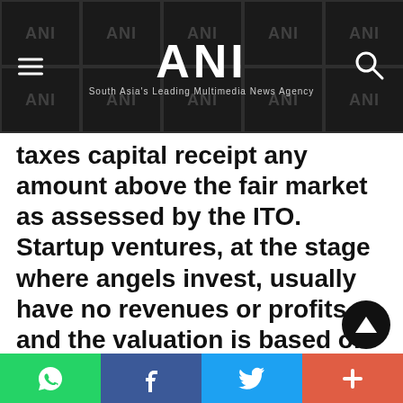ANI – South Asia's Leading Multimedia News Agency
taxes capital receipt any amount above the fair market as assessed by the ITO. Startup ventures, at the stage where angels invest, usually have no revenues or profits and the valuation is based on the potential and promise of the idea, the background and competence of the founding team, etc. and is usually a matter of negotiation between the founders and the angel investors. Apart from
WhatsApp | Facebook | Twitter | More